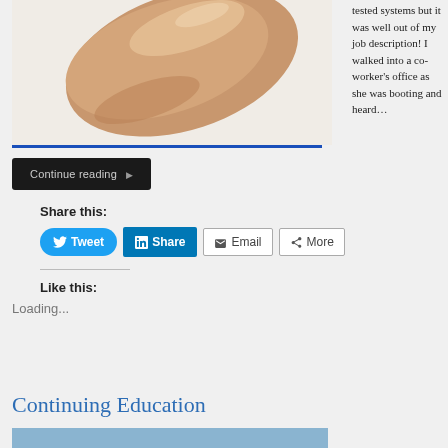[Figure (photo): Close-up photo of a human finger or prosthetic finger with skin-tone coloring against white background]
tested systems but it was well out of my job description! I walked into a co-worker's office as she was booting and heard…
Continue reading ▶
Share this:
Tweet
Share
Email
More
Like this:
Loading...
Continuing Education
[Figure (photo): Partial blue header bar of a new section]